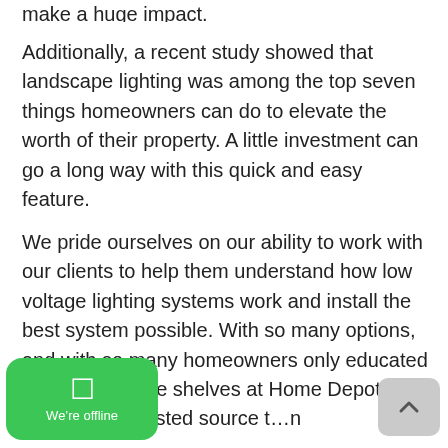make a huge impact.
Additionally, a recent study showed that landscape lighting was among the top seven things homeowners can do to elevate the worth of their property. A little investment can go a long way with this quick and easy feature.
We pride ourselves on our ability to work with our clients to help them understand how low voltage lighting systems work and install the best system possible. With so many options, and with so many homeowners only educated on what’s on the shelves at Home Depot, we can be your trusted source to…